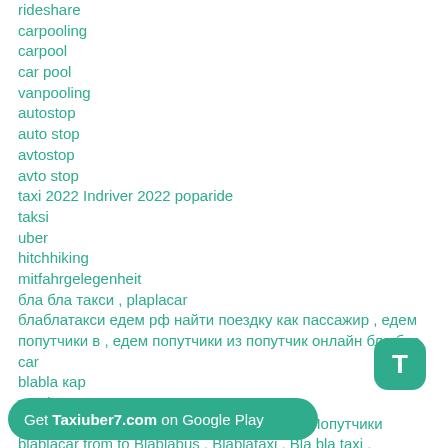rideshare
carpooling
carpool
car pool
vanpooling
autostop
auto stop
avtostop
avto stop
taxi 2022 Indriver 2022 poparide
taksi
uber
hitchhiking
mitfahrgelegenheit
бла бла такси , plaplacar
блаблатакси едем рф найти поездку как пассажир , едем попутчики в , едем попутчики из попутчик онлайн бла бла car
blabla кар
таксі
такси убер , edem.rf , едем.рф Попутчики Попутчики blablacar from to Blablabus , Blablataxi , Bla bla taxi , Blahblahcar , Blah blah car , Blablacar bus , Blablacar o… la ca… taxi carpooling .
Get Taxiuber7.com on Google Play